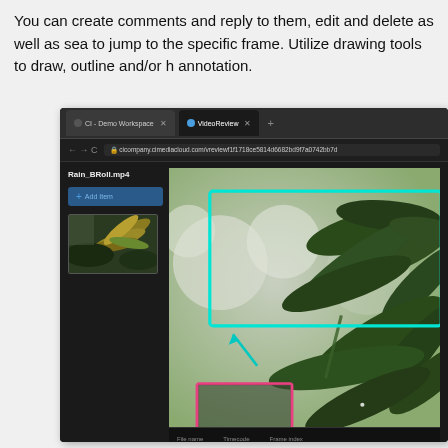You can create comments and reply to them, edit and delete as well as search to jump to the specific frame. Utilize drawing tools to draw, outline and/or highlight annotation.
[Figure (screenshot): Screenshot of a web browser showing a VideoReview application. The interface shows a dark-themed video review tool with a file 'Rain_BRoll.mp4'. The left panel has an 'Add Item' button and a thumbnail of a plant. The main area shows a video frame with green leaves and a cyan/teal rectangle annotation drawn on it, plus a smaller pink/magenta rectangle annotation in the lower area. The bottom shows a filmstrip bar with File name, Timecode, and Frame index columns.]